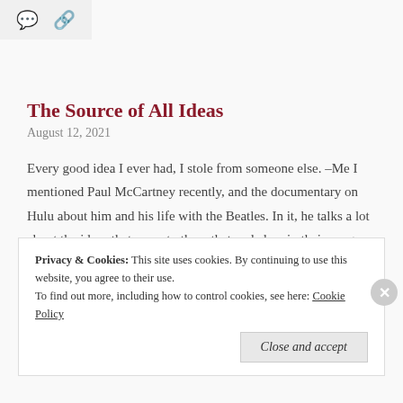[Figure (other): Icon bar with comment bubble and link icons on a light gray background]
The Source of All Ideas
August 12, 2021
Every good idea I ever had, I stole from someone else. –Me I mentioned Paul McCartney recently, and the documentary on Hulu about him and his life with the Beatles. In it, he talks a lot about the ideas that came to them that ended up in their songs. Sometimes it had to do with … More
Privacy & Cookies:  This site uses cookies. By continuing to use this website, you agree to their use.
To find out more, including how to control cookies, see here: Cookie Policy
Close and accept